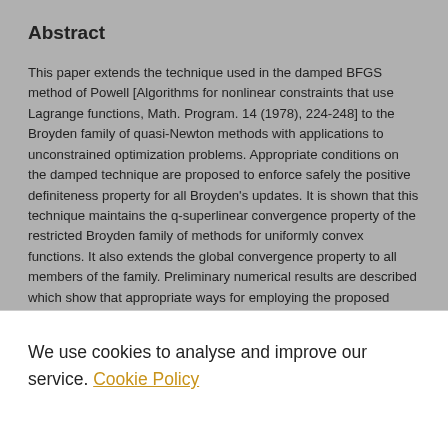Abstract
This paper extends the technique used in the damped BFGS method of Powell [Algorithms for nonlinear constraints that use Lagrange functions, Math. Program. 14 (1978), 224-248] to the Broyden family of quasi-Newton methods with applications to unconstrained optimization problems. Appropriate conditions on the damped technique are proposed to enforce safely the positive definiteness property for all Broyden's updates. It is shown that this technique maintains the q-superlinear convergence property of the restricted Broyden family of methods for uniformly convex functions. It also extends the global convergence property to all members of the family. Preliminary numerical results are described which show that appropriate ways for employing the proposed technique improve the performance of all members of the Broyden family
We use cookies to analyse and improve our service. Cookie Policy